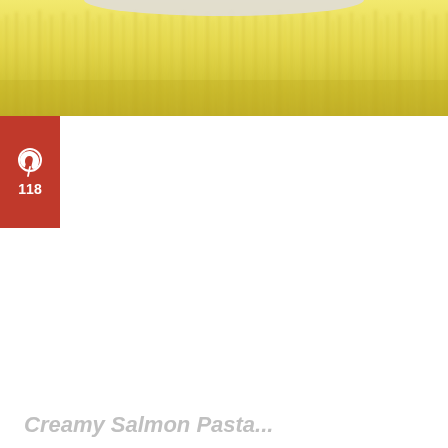[Figure (photo): Close-up photo of pasta (likely tagliatelle or fettuccine) in a bowl, showing yellow/cream colored noodles with visible ridges, blurred background, white bowl rim visible at top]
[Figure (logo): Pinterest share button badge — red square with Pinterest 'P' logo icon in white and number 118 below it in white text]
Creamy Salmon Pasta...